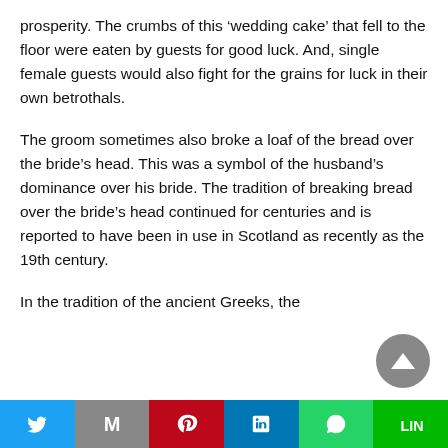prosperity. The crumbs of this ‘wedding cake’ that fell to the floor were eaten by guests for good luck. And, single female guests would also fight for the grains for luck in their own betrothals.
The groom sometimes also broke a loaf of the bread over the bride’s head. This was a symbol of the husband’s dominance over his bride. The tradition of breaking bread over the bride’s head continued for centuries and is reported to have been in use in Scotland as recently as the 19th century.
In the tradition of the ancient Greeks, the
Twitter | Gmail | Pinterest | LinkedIn | WhatsApp | LINE